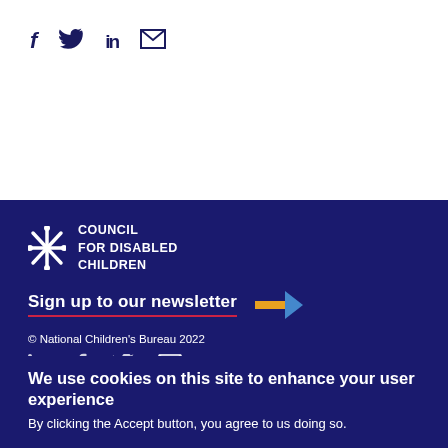[Figure (other): Social media icons: Facebook (f), Twitter (bird), LinkedIn (in), Email (envelope) in dark navy]
[Figure (logo): Council for Disabled Children logo with stylized asterisk/star mark in white on dark navy background]
Sign up to our newsletter →
© National Children's Bureau 2022
[Figure (other): Social media icons (LinkedIn, Facebook, Twitter, Email) in white on dark navy background]
We use cookies on this site to enhance your user experience
By clicking the Accept button, you agree to us doing so.